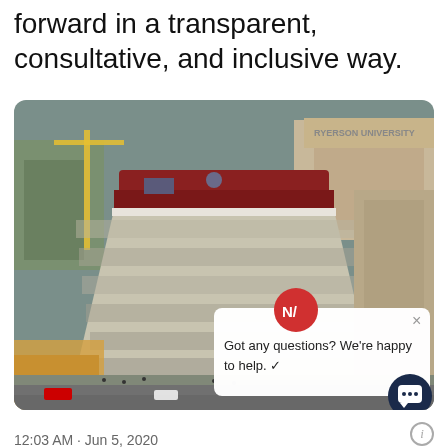forward in a transparent, consultative, and inclusive way.
[Figure (photo): Aerial photo of Ryerson University building with distinctive patterned facade, surrounded by urban Toronto streetscape. A chat popup overlay appears in the lower right of the image with text 'Got any questions? We're happy to help. ✓' and a red avatar with 'N/' initials. A dark navy chat button is visible in the bottom right corner.]
12:03 AM · Jun 5, 2020